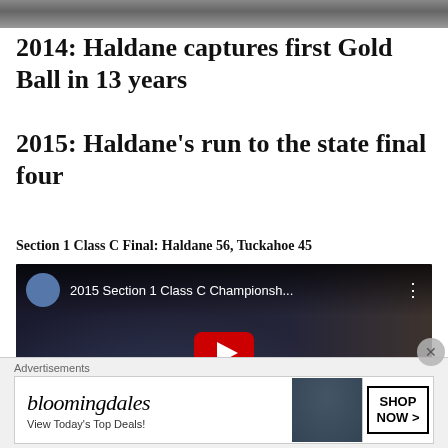[Figure (photo): Top banner photo strip, partially visible]
2014: Haldane captures first Gold Ball in 13 years
2015: Haldane’s run to the state final four
Section 1 Class C Final: Haldane 56, Tuckahoe 45
[Figure (screenshot): YouTube video embed: 2015 Section 1 Class C Championsh... showing a basketball player (#23) smiling, with a red YouTube play button overlay and video title bar with avatar]
[Figure (other): Bloomingdale's advertisement: View Today's Top Deals! SHOP NOW > with hat lady image]